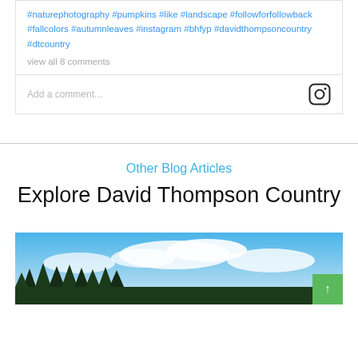#naturephotography #pumpkins #like #landscape #followforfollowback #fallcolors #autumnleaves #instagram #bhfyp #davidthompsoncountry #dtcountry
view all 8 comments
Add a comment...
Other Blog Articles
Explore David Thompson Country
[Figure (photo): Landscape photo showing blue sky with clouds and silhouetted evergreen trees at the bottom, partially visible at page bottom]